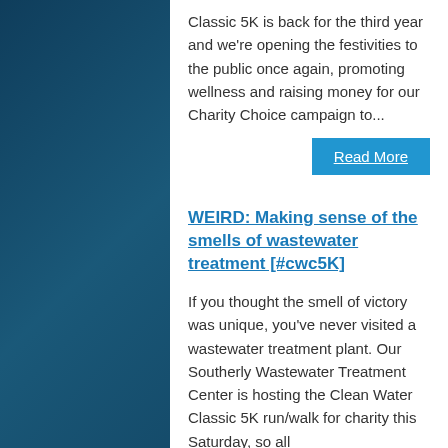Classic 5K is back for the third year and we're opening the festivities to the public once again, promoting wellness and raising money for our Charity Choice campaign to...
Read More
WEIRD: Making sense of the smells of wastewater treatment [#cwc5K]
If you thought the smell of victory was unique, you've never visited a wastewater treatment plant. Our Southerly Wastewater Treatment Center is hosting the Clean Water Classic 5K run/walk for charity this Saturday, so all